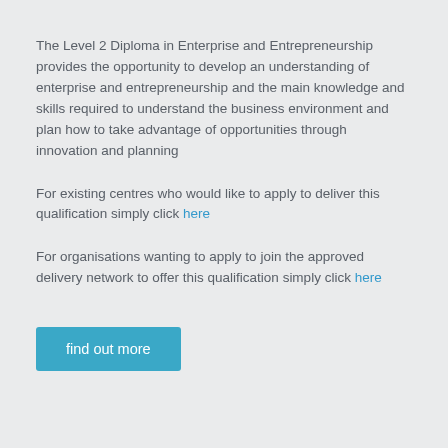The Level 2 Diploma in Enterprise and Entrepreneurship provides the opportunity to develop an understanding of enterprise and entrepreneurship and the main knowledge and skills required to understand the business environment and plan how to take advantage of opportunities through innovation and planning
For existing centres who would like to apply to deliver this qualification simply click here
For organisations wanting to apply to join the approved delivery network to offer this qualification simply click here
find out more